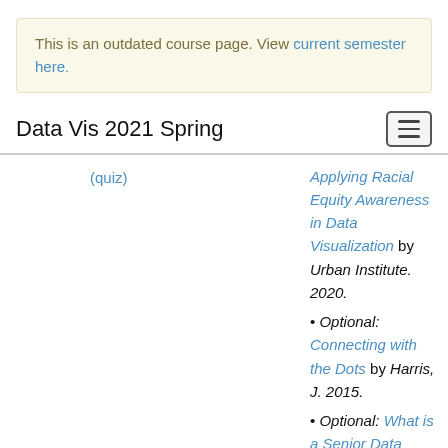This is an outdated course page. View current semester here.
Data Vis 2021 Spring
(quiz)
Applying Racial Equity Awareness in Data Visualization by Urban Institute. 2020.
• Optional: Connecting with the Dots by Harris, J. 2015.
• Optional: What is a Senior Data